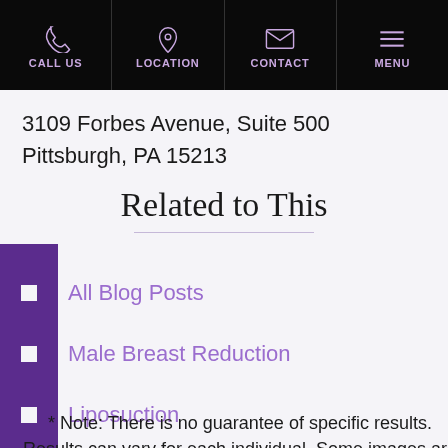CALL US | LOCATION | CONTACT | MENU
3109 Forbes Avenue, Suite 500
Pittsburgh, PA 15213
Related to This
All Blog Posts
Male Breast Reduction
Liposuction
Plastic Surgery
* Note: There is no guarantee of specific results. Results can vary for each individual. Some images are of models, not